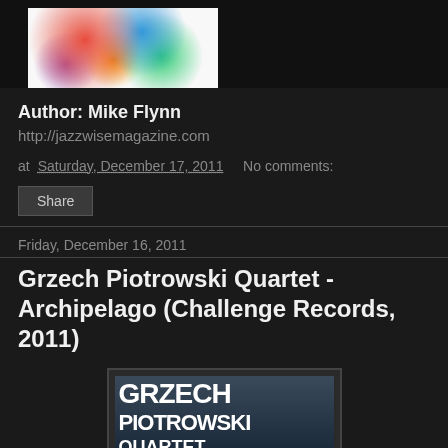[Figure (photo): Album cover thumbnail showing colorful abstract art on white background]
Author: Mike Flynn
http://jazzwisemagazine.com
at Saturday, December 17, 2011   No comments:
Share
Friday, December 16, 2011
Grzech Piotrowski Quartet - Archipelago (Challenge Records, 2011)
[Figure (photo): Album cover for Grzech Piotrowski Quartet - Archipelago showing bold white text on dark cityscape background]